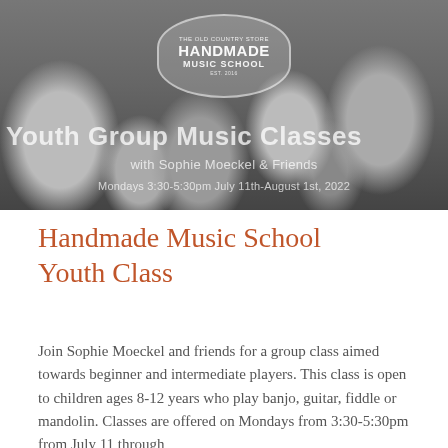[Figure (photo): Black and white photo of youth music class with children playing instruments, overlaid with Handmade Music School logo badge and text 'Youth Group Music Classes with Sophie Moeckel & Friends, Mondays 3:30-5:30pm July 11th-August 1st, 2022']
Handmade Music School Youth Class
Join Sophie Moeckel and friends for a group class aimed towards beginner and intermediate players. This class is open to children ages 8-12 years who play banjo, guitar, fiddle or mandolin. Classes are offered on Mondays from 3:30-5:30pm from July 11 through